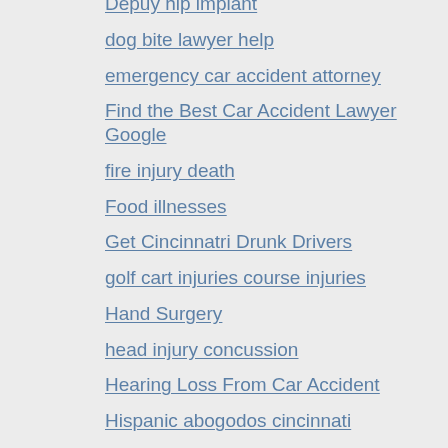Depuy hip implant
dog bite lawyer help
emergency car accident attorney
Find the Best Car Accident Lawyer Google
fire injury death
Food illnesses
Get Cincinnatri Drunk Drivers
golf cart injuries course injuries
Hand Surgery
head injury concussion
Hearing Loss From Car Accident
Hispanic abogodos cincinnati
How much is my car accident case worth
How to find the Best injury lawyer
injury settlement calculator